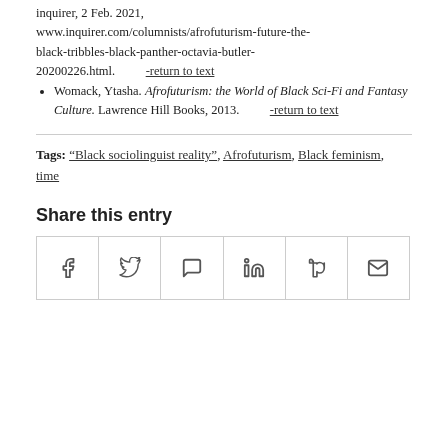inquirer, 2 Feb. 2021, www.inquirer.com/columnists/afrofuturism-future-the-black-tribbles-black-panther-octavia-butler-20200226.html. -return to text
Womack, Ytasha. Afrofuturism: the World of Black Sci-Fi and Fantasy Culture. Lawrence Hill Books, 2013. -return to text
Tags: "Black sociolinguist reality", Afrofuturism, Black feminism, time
Share this entry
[Figure (infographic): Share buttons row with icons for Facebook, Twitter, WhatsApp, LinkedIn, Tumblr, and Email]